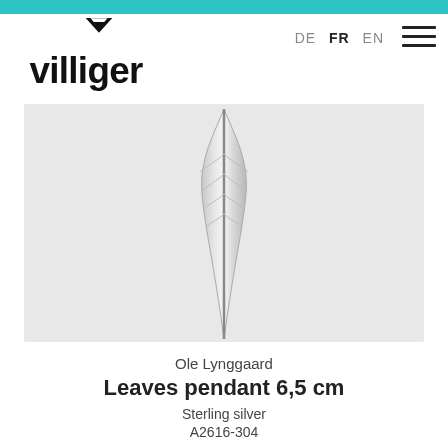[Figure (logo): Villiger jeweler logo with diamond-shaped emblem above stylized text reading 'villiger']
DE  FR  EN
[Figure (illustration): Silver leaf pendant (Leaves pendant 6.5 cm) in sterling silver, shown vertically against a light gray background]
Ole Lynggaard
Leaves pendant 6,5 cm
Sterling silver
A2616-304
CHF 225